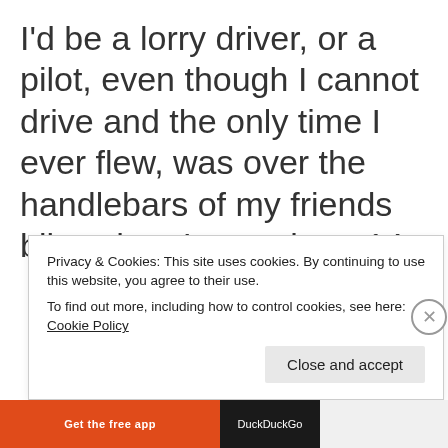I'd be a lorry driver, or a pilot, even though I cannot drive and the only time I ever flew, was over the handlebars of my friends bike when I was about 14.
Privacy & Cookies: This site uses cookies. By continuing to use this website, you agree to their use. To find out more, including how to control cookies, see here: Cookie Policy